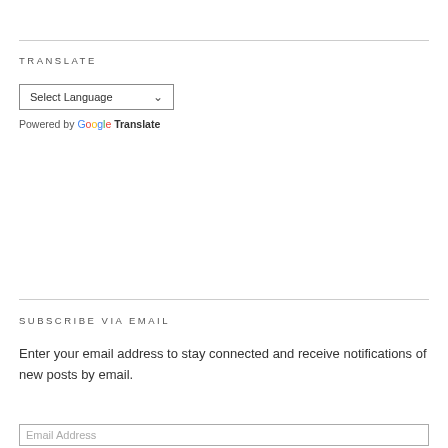TRANSLATE
[Figure (screenshot): Select Language dropdown with Google Translate branding. Shows 'Select Language' dropdown box and 'Powered by Google Translate' text below.]
SUBSCRIBE VIA EMAIL
Enter your email address to stay connected and receive notifications of new posts by email.
Email Address